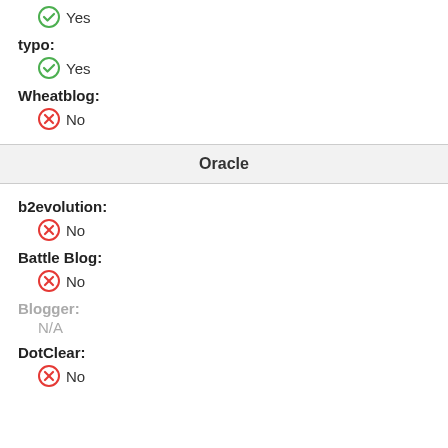Yes
typo:
Yes
Wheatblog:
No
Oracle
b2evolution:
No
Battle Blog:
No
Blogger:
N/A
DotClear:
No